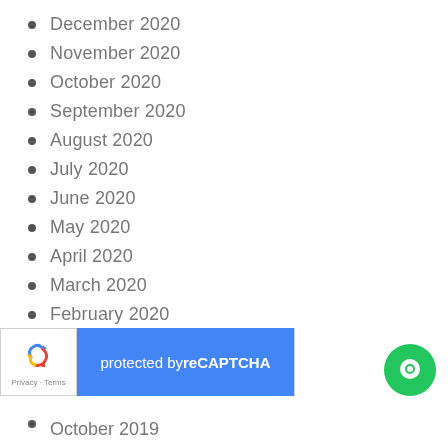December 2020
November 2020
October 2020
September 2020
August 2020
July 2020
June 2020
May 2020
April 2020
March 2020
February 2020
January 2020
[Figure (other): reCAPTCHA protected by badge with Privacy and Terms links, and a blue label reading 'protected by reCAPTCHA']
October 2019